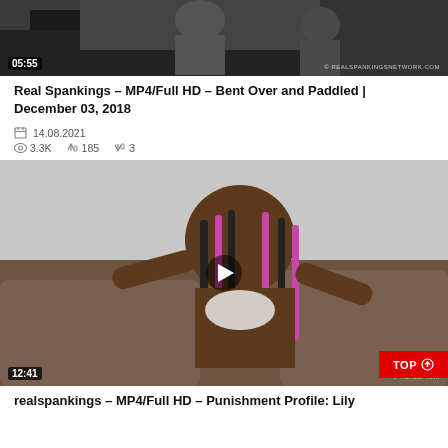[Figure (screenshot): Video thumbnail showing two people, with timestamp 05:55 and watermark REALSPANKINGSNETWORK.COM]
Real Spankings – MP4/Full HD – Bent Over and Paddled | December 03, 2018
14.08.2021   3.3K   185   3
[Figure (screenshot): Video thumbnail showing a woman on a couch with pink braided hair, play button overlay, timestamp 12:41, watermark REALSPANK, and TOP button]
realspankings – MP4/Full HD – Punishment Profile: Lily